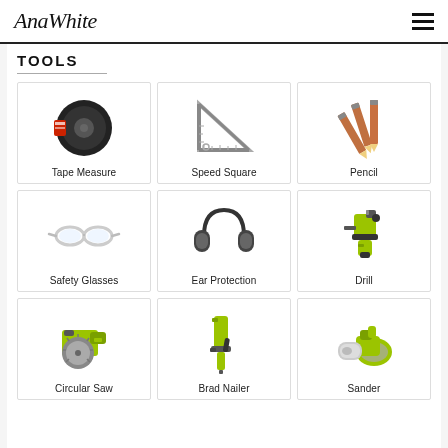AnaWhite
TOOLS
[Figure (illustration): Grid of 9 woodworking/DIY tools: Tape Measure, Speed Square, Pencil, Safety Glasses, Ear Protection, Drill, Circular Saw, Brad Nailer, Sander]
Tape Measure
Speed Square
Pencil
Safety Glasses
Ear Protection
Drill
Circular Saw
Brad Nailer
Sander